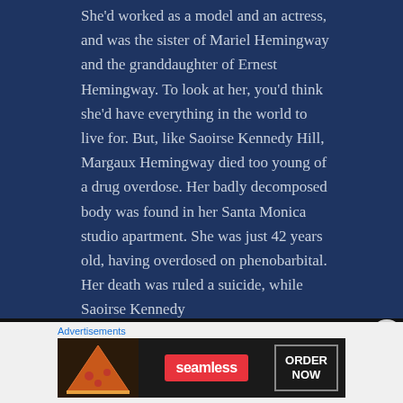She'd worked as a model and an actress, and was the sister of Mariel Hemingway and the granddaughter of Ernest Hemingway. To look at her, you'd think she'd have everything in the world to live for. But, like Saoirse Kennedy Hill, Margaux Hemingway died too young of a drug overdose. Her badly decomposed body was found in her Santa Monica studio apartment. She was just 42 years old, having overdosed on phenobarbital. Her death was ruled a suicide, while Saoirse Kennedy
[Figure (screenshot): Advertisement banner for Seamless food delivery service showing pizza image on left, Seamless red logo in center, and ORDER NOW button on right, on dark background.]